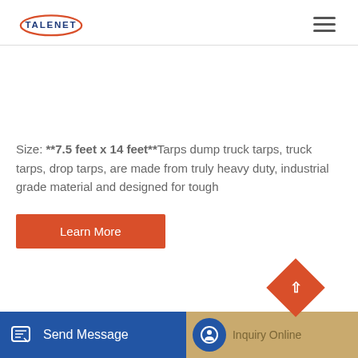TALENET
Size: **7.5 feet x 14 feet**Tarps dump truck tarps, truck tarps, drop tarps, are made from truly heavy duty, industrial grade material and designed for tough
Learn More
Send Message
Inquiry Online